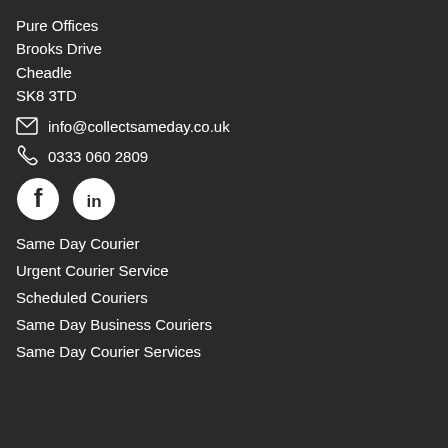Pure Offices
Brooks Drive
Cheadle
SK8 3TD
info@collectsameday.co.uk
0333 060 2809
[Figure (other): Facebook and LinkedIn social media icons, circular white on dark background]
Same Day Courier
Urgent Courier Service
Scheduled Couriers
Same Day Business Couriers
Same Day Courier Services